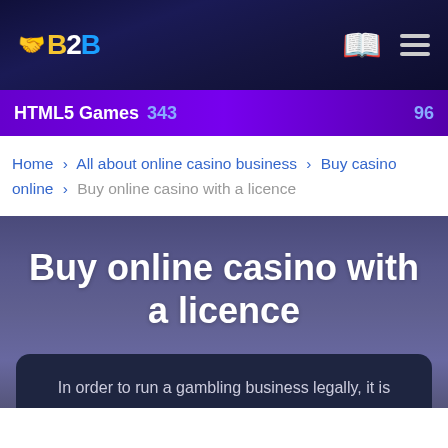B2B [logo with hands icon, book icon, menu icon]
HTML5 Games 343   96
Home > All about online casino business > Buy casino online > Buy online casino with a licence
Buy online casino with a licence
In order to run a gambling business legally, it is